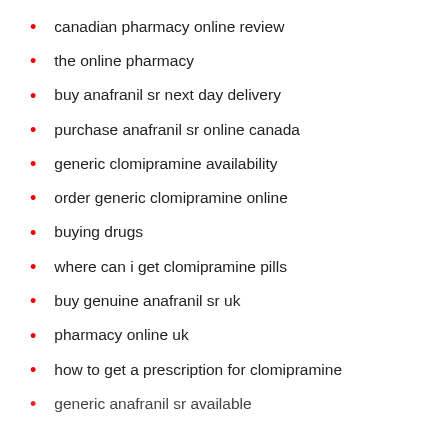canadian pharmacy online review
the online pharmacy
buy anafranil sr next day delivery
purchase anafranil sr online canada
generic clomipramine availability
order generic clomipramine online
buying drugs
where can i get clomipramine pills
buy genuine anafranil sr uk
pharmacy online uk
how to get a prescription for clomipramine
generic anafranil sr available